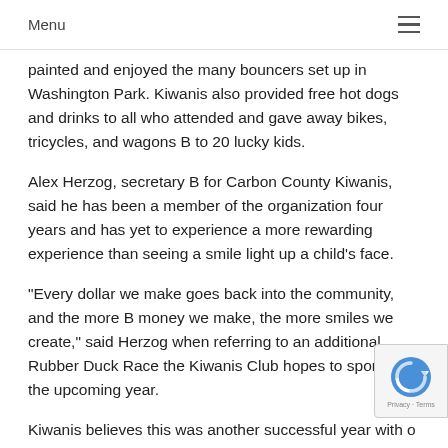Menu
painted and enjoyed the many bouncers set up in Washington Park. Kiwanis also provided free hot dogs and drinks to all who attended and gave away bikes, tricycles, and wagons B to 20 lucky kids.
Alex Herzog, secretary B for Carbon County Kiwanis, said he has been a member of the organization four years and has yet to experience a more rewarding experience than seeing a smile light up a child's face.
“Every dollar we make goes back into the community, and the more B money we make, the more smiles we create,” said Herzog when referring to an additional Rubber Duck Race the Kiwanis Club hopes to sponsor in the upcoming year.
Kiwanis believes this was another successful year with o... 900 parents and children who attended. The Kiwanis Club also